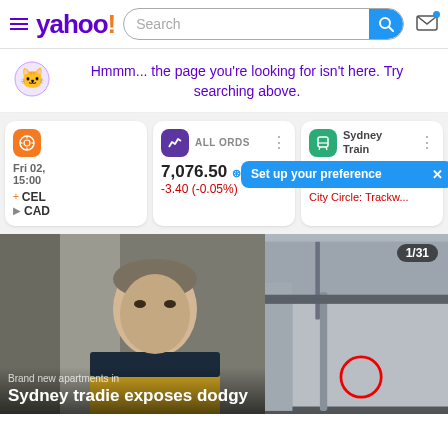yahoo! Search
Hmmm... the page you're looking for isn't here. Try searching above.
[Figure (screenshot): Widget cards: sports/calendar showing Fri 02, 15:00 with CEL and CAD; ALL ORDS stock widget showing 7,076.50 with -3.40 (-0.05%); Sydney Train widget with Set up your preference tooltip and City Circle: Trackw...]
[Figure (photo): News image showing a Sydney tradie (man in yellow hi-vis jacket) with headline 'Sydney tradie exposes dodgy' and a second photo showing a train track with red circle, badge showing 1/31]